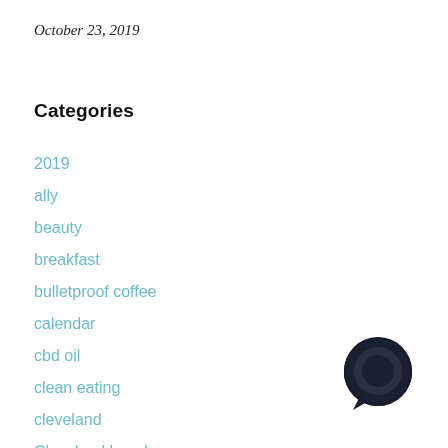October 23, 2019
Categories
2019
ally
beauty
breakfast
bulletproof coffee
calendar
cbd oil
clean eating
cleveland
Cleveland beach
[Figure (illustration): Dark circular chat bubble icon in bottom right corner]